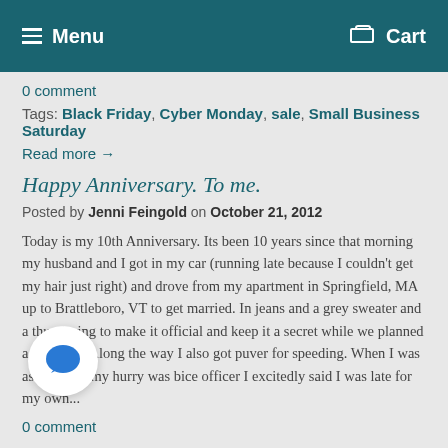Menu  Cart
0 comment
Tags: Black Friday, Cyber Monday, sale, Small Business Saturday
Read more →
Happy Anniversary. To me.
Posted by Jenni Feingold on October 21, 2012
Today is my 10th Anniversary. Its been 10 years since that morning my husband and I got in my car (running late because I couldn't get my hair just right) and drove from my apartment in Springfield, MA up to Brattleboro, VT to get married. In jeans and a grey sweater and a thumb ring to make it official and keep it a secret while we planned a wedding. Along the way I also got pulled over for speeding. When I was asked what my hurry was by the police officer I excitedly said I was late for my own...
0 comment